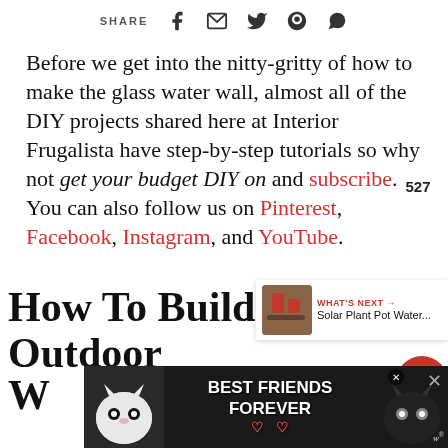SHARE [social icons: Facebook, Email, Twitter, Pinterest, WhatsApp]
Before we get into the nitty-gritty of how to make the glass water wall, almost all of the DIY projects shared here at Interior Frugalista have step-by-step tutorials so why not get your budget DIY on and subscribe. You can also follow us on Pinterest, Facebook, Instagram, and YouTube.
[Figure (infographic): Heart/like button showing 527 count and a share button]
[Figure (infographic): What's Next panel showing Solar Plant Pot Water... with thumbnail]
How To Build An Outdoor W...
[Figure (photo): Advertisement banner: Best Friends Forever with cats image]